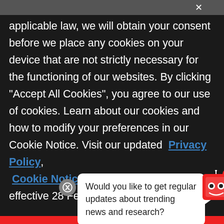applicable law, we will obtain your consent before we place any cookies on your device that are not strictly necessary for the functioning of our websites. By clicking "Accept All Cookies", you agree to our use of cookies. Learn about our cookies and how to modify your preferences in our Cookie Notice. Visit our updated Privacy Policy, Cookie Notice, and Terms of Use, effective 28 February 2022.
Would you like to get regular updates about trending news and research?